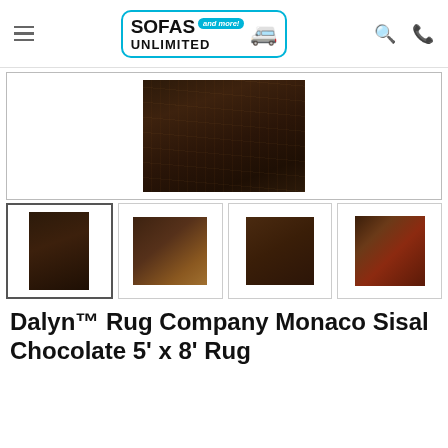Sofas Unlimited and more!
[Figure (photo): Main product image of Dalyn Monaco Sisal Chocolate rug — dark chocolate brown woven textile, rectangular, shown against white background]
[Figure (photo): Thumbnail 1 (selected): Dark chocolate brown rug, front view]
[Figure (photo): Thumbnail 2: Dark brown rug corner/angle view on wood floor]
[Figure (photo): Thumbnail 3: Dark brown rug partial view]
[Figure (photo): Thumbnail 4: Dark brown/red-toned rug corner view]
Dalyn™ Rug Company Monaco Sisal Chocolate 5' x 8' Rug